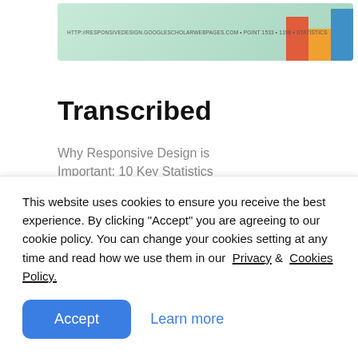[Figure (screenshot): Partial screenshot of a webpage showing a colored bar chart image at the top with teal background and orange, yellow, blue bar chart elements on the right side, with small URL text overlay]
Transcribed
Why Responsive Design is Important: 10 Key Statistics
WHY RESPONSIVE WEB DESIGN SINCE WARNING:
This website uses cookies to ensure you receive the best experience. By clicking "Accept" you are agreeing to our cookie policy. You can change your cookies setting at any time and read how we use them in our  Privacy &  Cookies Policy.
Accept    Learn more